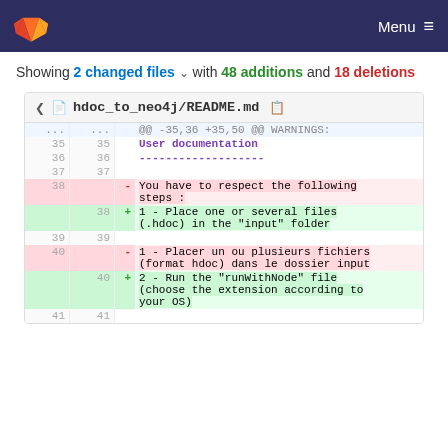GitLab navigation bar with logo and Menu
Showing 2 changed files with 48 additions and 18 deletions
| old | new | sign | code |
| --- | --- | --- | --- |
| ... | ... |  | @@ -35,36 +35,50 @@ WARNINGS: |
| 35 | 35 |  | User documentation |
| 36 | 36 |  | ------------------- |
| 37 | 37 |  |  |
| 38 |  | - | You have to respect the following steps : |
|  | 38 | + | 1 - Place one or several files (.hdoc) in the "input" folder |
| 39 | 39 |  |  |
| 40 |  | - | 1 - Placer un ou plusieurs fichiers (format hdoc) dans le dossier input |
|  | 40 | + | 2 - Run the "runWithNode" file (choose the extension according to your OS) |
| 41 | 41 |  |  |